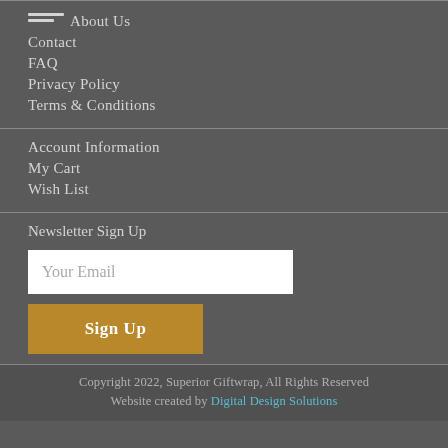About Us
Contact
FAQ
Privacy Policy
Terms & Conditions
Account Information
My Cart
Wish List
Newsletter Sign Up
Your Email
Sign Up
Copyright 2022, Superior Giftwrap, All Rights Reserved
Website created by Digital Design Solutions